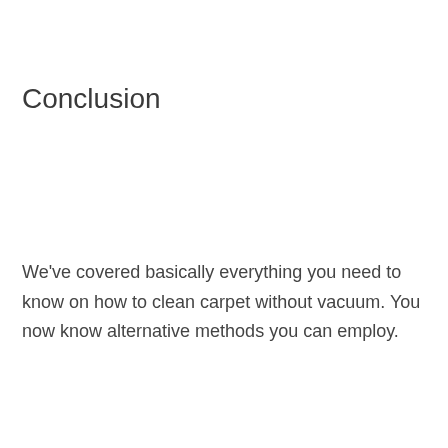Conclusion
We've covered basically everything you need to know on how to clean carpet without vacuum. You now know alternative methods you can employ.